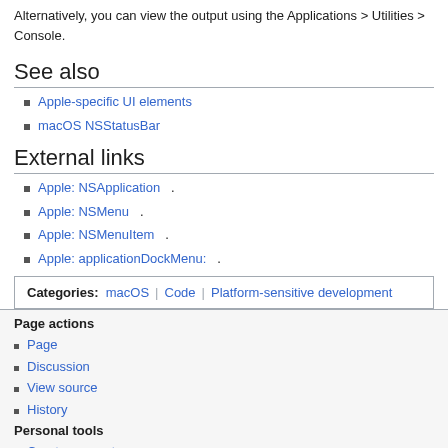Alternatively, you can view the output using the Applications > Utilities > Console.
See also
Apple-specific UI elements
macOS NSStatusBar
External links
Apple: NSApplication .
Apple: NSMenu .
Apple: NSMenuItem .
Apple: applicationDockMenu: .
Categories: macOS | Code | Platform-sensitive development
Page actions
Page
Discussion
View source
History
Personal tools
Create account
Log in